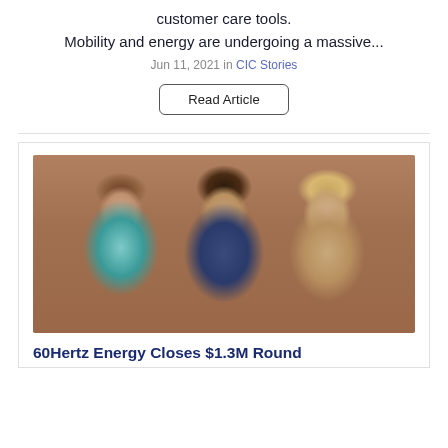customer care tools.
Mobility and energy are undergoing a massive...
Jun 11, 2021 in CIC Stories
Read Article
[Figure (photo): Three women smiling outdoors in front of a brick building background]
60Hertz Energy Closes $1.3M Round